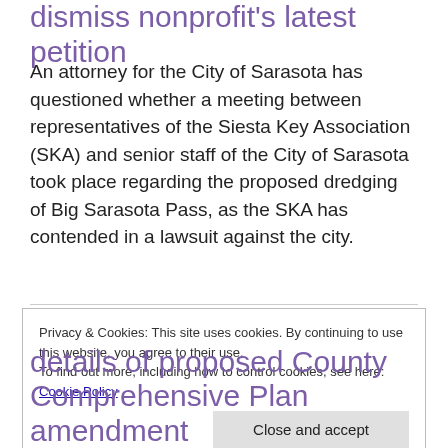dismiss nonprofit's latest petition
An attorney for the City of Sarasota has questioned whether a meeting between representatives of the Siesta Key Association (SKA) and senior staff of the City of Sarasota took place regarding the proposed dredging of Big Sarasota Pass, as the SKA has contended in a lawsuit against the city.
Privacy & Cookies: This site uses cookies. By continuing to use this website, you agree to their use.
To find out more, including how to control cookies, see here: Cookie Policy
details of proposed County Comprehensive Plan amendment